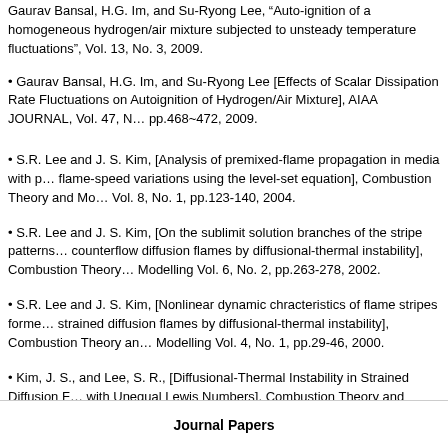Gaurav Bansal, H.G. Im, and Su-Ryong Lee, "Auto-ignition of a homogeneous hydrogen/air mixture subjected to unsteady temperature fluctuations", Vol. 13, No. 3, 2009.
Gaurav Bansal, H.G. Im, and Su-Ryong Lee [Effects of Scalar Dissipation Rate Fluctuations on Autoignition of Hydrogen/Air Mixture], AIAA JOURNAL, Vol. 47, No. 2, pp.468~472, 2009.
S.R. Lee and J. S. Kim, [Analysis of premixed-flame propagation in media with periodic flame-speed variations using the level-set equation], Combustion Theory and Modelling, Vol. 8, No. 1, pp.123-140, 2004.
S.R. Lee and J. S. Kim, [On the sublimit solution branches of the stripe patterns in counterflow diffusion flames by diffusional-thermal instability], Combustion Theory and Modelling Vol. 6, No. 2, pp.263-278, 2002.
S.R. Lee and J. S. Kim, [Nonlinear dynamic chracteristics of flame stripes formed in strained diffusion flames by diffusional-thermal instability], Combustion Theory and Modelling Vol. 4, No. 1, pp.29-46, 2000.
Kim, J. S., and Lee, S. R., [Diffusional-Thermal Instability in Strained Diffusion Flames with Unequal Lewis Numbers], Combustion Theory and Modelling 3-1, 123-146 (1999).
Journal Papers